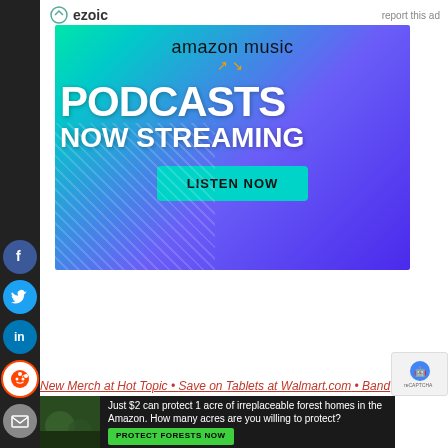[Figure (logo): Ezoic logo with circular icon and text 'ezoic']
report this ad
[Figure (illustration): Amazon Music advertisement banner: gradient green-to-purple background with diamond pattern overlay, Amazon Music logo, large white bold text 'PODCASTS NOW STREAMING', and a teal 'LISTEN NOW' button]
New Merch at Hot Topic • Save on Tablets at Walmart.com • Band
[Figure (logo): reCAPTCHA badge with blue robot icon]
[Figure (illustration): Bottom ad: forest/nature image with text 'Just $2 can protect 1 acre of irreplaceable forest homes in the Amazon. How many acres are you willing to protect?' and green 'PROTECT FORESTS NOW' button]